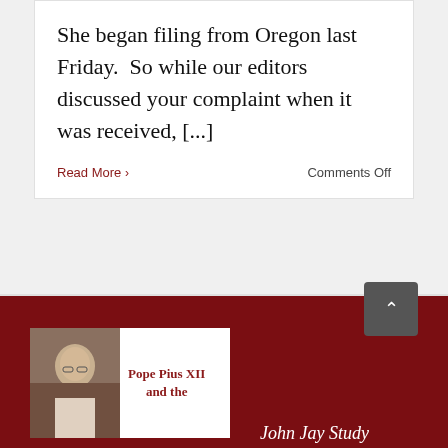She began filing from Oregon last Friday.  So while our editors discussed your complaint when it was received, [...]
Read More > Comments Off
1  2  Next >
[Figure (illustration): Pope Pius XII portrait photo thumbnail with red building in background]
Pope Pius XII and the
John Jay Study